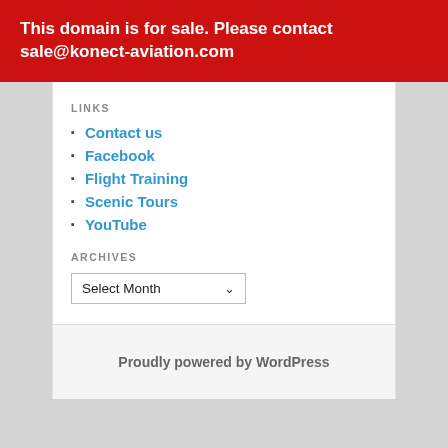This domain is for sale. Please contact sale@konect-aviation.com
LINKS
Contact us
Facebook
Flight Training
Scenic Tours
YouTube
ARCHIVES
Select Month
Proudly powered by WordPress